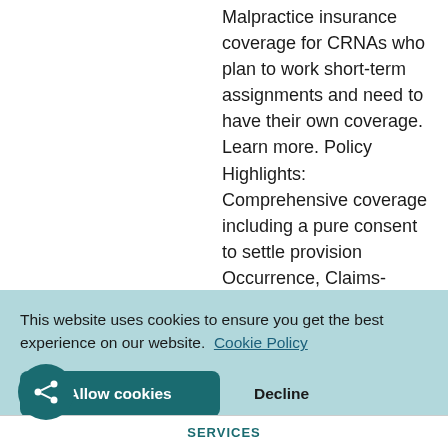Malpractice insurance coverage for CRNAs who plan to work short-term assignments and need to have their own coverage. Learn more. Policy Highlights: Comprehensive coverage including a pure consent to settle provision Occurrence, Claims-Made, and Convert to Occurrence® coverage options available Unlimited defense costs Knowledgeable account representatives wh...[more]
This website uses cookies to ensure you get the best experience on our website. Cookie Policy
Allow cookies
Decline
SERVICES